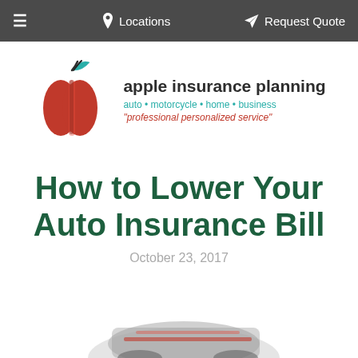≡  Locations  ✈ Request Quote
[Figure (logo): Apple Insurance Planning logo with red apple graphic and company name, tagline: auto • motorcycle • home • business, "professional personalized service"]
How to Lower Your Auto Insurance Bill
October 23, 2017
[Figure (photo): Partial image of a car at the bottom of the page, mostly cropped]